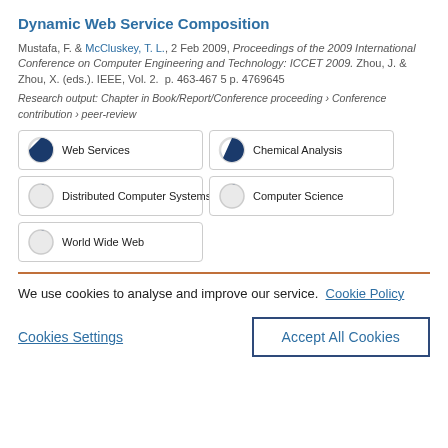Dynamic Web Service Composition
Mustafa, F. & McCluskey, T. L., 2 Feb 2009, Proceedings of the 2009 International Conference on Computer Engineering and Technology: ICCET 2009. Zhou, J. & Zhou, X. (eds.). IEEE, Vol. 2. p. 463-467 5 p. 4769645
Research output: Chapter in Book/Report/Conference proceeding › Conference contribution › peer-review
Web Services
Chemical Analysis
Distributed Computer Systems
Computer Science
World Wide Web
We use cookies to analyse and improve our service. Cookie Policy
Cookies Settings
Accept All Cookies